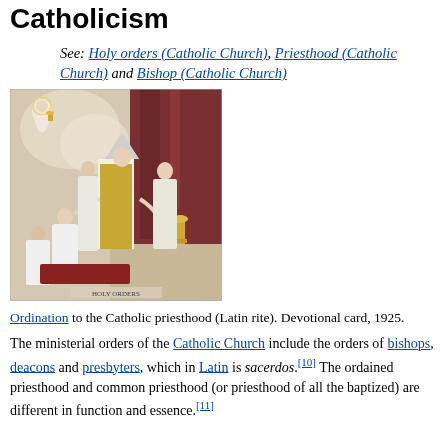Catholicism
See: Holy orders (Catholic Church), Priesthood (Catholic Church) and Bishop (Catholic Church)
[Figure (illustration): Painting depicting an ordination ceremony to the Catholic priesthood (Latin rite). A bishop in ceremonial vestments lays hands on kneeling candidates in white robes. A heavenly figure appears in the upper left. Devotional card, 1925.]
Ordination to the Catholic priesthood (Latin rite). Devotional card, 1925.
The ministerial orders of the Catholic Church include the orders of bishops, deacons and presbyters, which in Latin is sacerdos.[10] The ordained priesthood and common priesthood (or priesthood of all the baptized) are different in function and essence.[11]